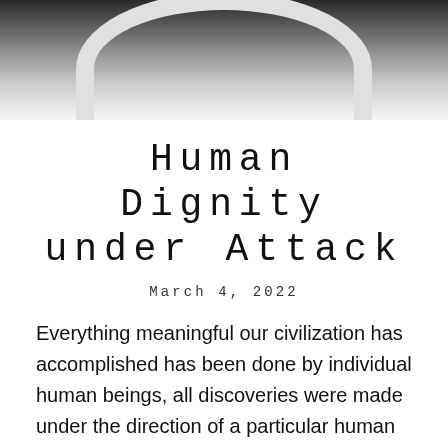[Figure (photo): Black and white photograph, partial view — dark upper left corner transitioning to light grey/white, with a curved white/light object (possibly a hat brim or dome) visible against a lighter background.]
Human Dignity under Attack
March 4, 2022
Everything meaningful our civilization has accomplished has been done by individual human beings, all discoveries were made under the direction of a particular human being and all works of art point to a particular artist as its creator. Nothing of